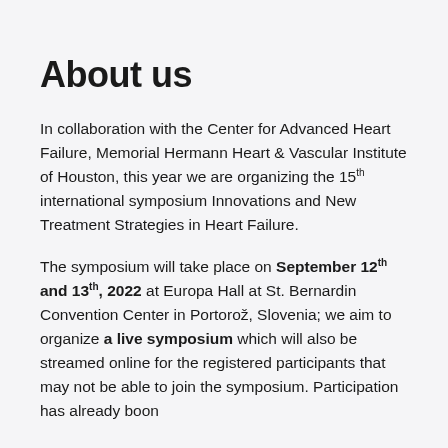About us
In collaboration with the Center for Advanced Heart Failure, Memorial Hermann Heart & Vascular Institute of Houston, this year we are organizing the 15th international symposium Innovations and New Treatment Strategies in Heart Failure.
The symposium will take place on September 12th and 13th, 2022 at Europa Hall at St. Bernardin Convention Center in Portorož, Slovenia; we aim to organize a live symposium which will also be streamed online for the registered participants that may not be able to join the symposium. Participation has already boon